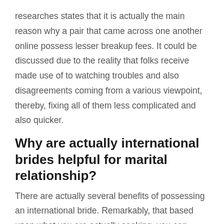researches states that it is actually the main reason why a pair that came across one another online possess lesser breakup fees. It could be discussed due to the reality that folks receive made use of to watching troubles and also disagreements coming from a various viewpoint, thereby, fixing all of them less complicated and also quicker.
Why are actually international brides helpful for marital relationship?
There are actually several benefits of possessing an international bride. Remarkably, that based upon what you are actually seeking, you can easily select a mail order bride of a specific citizenship. Listed here, you may know what brings in Asian, Latin, Russian, and also Ukrainian brides thus exclusive as well as special.